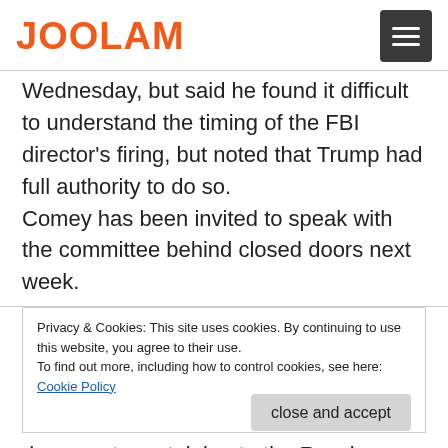JOOLAM
Wednesday, but said he found it difficult to understand the timing of the FBI director's firing, but noted that Trump had full authority to do so.

Comey has been invited to speak with the committee behind closed doors next week.
Privacy & Cookies: This site uses cookies. By continuing to use this website, you agree to their use.
To find out more, including how to control cookies, see here: Cookie Policy
close and accept
documents pertaining to the Russia probe